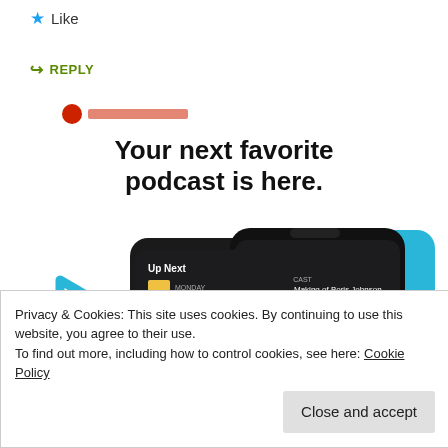★ Like
↪ REPLY
[Figure (screenshot): Partial red link/button partially visible]
Your next favorite podcast is here.
[Figure (screenshot): Pocket Casts app advertisement showing two iPhones with 'Up Next' podcast queue screens, with blue geometric decorative shapes in background]
Privacy & Cookies: This site uses cookies. By continuing to use this website, you agree to their use.
To find out more, including how to control cookies, see here: Cookie Policy
Close and accept